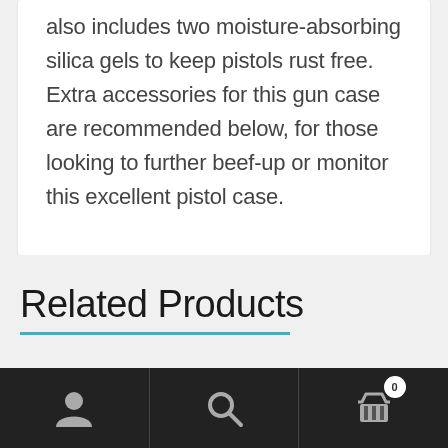also includes two moisture-absorbing silica gels to keep pistols rust free. Extra accessories for this gun case are recommended below, for those looking to further beef-up or monitor this excellent pistol case.
Related Products